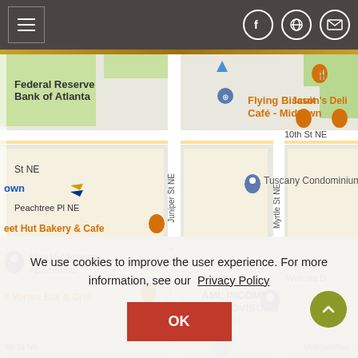[Figure (screenshot): Navigation bar with hamburger menu on left and social media icons (Facebook, globe/web, email) on right, dark gray background]
[Figure (map): Google Maps view of Midtown Atlanta area showing streets including Juniper St NE, Myrtle St NE, 10th St NE, Peachtree Pl NE. Landmarks include Federal Reserve Bank of Atlanta, Flying Biscuit Café - Midtown, Jason's Deli, Tuscany Condominiums, Nine15 Midtown Apartments, Vortex Bar & Grill, AML Income Tax Advisors, Sweet Hut Bakery & Cafe]
We use cookies to improve the user experience. For more information, see our Privacy Policy
[Figure (screenshot): Red OK button for cookie consent]